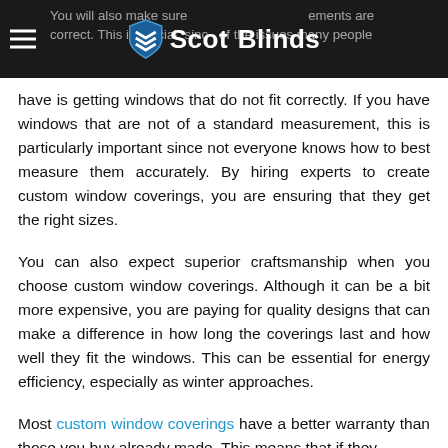Scot Blinds — You will also make sure measurements are correct. This is crucial, since one of the issues many people
have is getting windows that do not fit correctly. If you have windows that are not of a standard measurement, this is particularly important since not everyone knows how to best measure them accurately. By hiring experts to create custom window coverings, you are ensuring that they get the right sizes.
You can also expect superior craftsmanship when you choose custom window coverings. Although it can be a bit more expensive, you are paying for quality designs that can make a difference in how long the coverings last and how well they fit the windows. This can be essential for energy efficiency, especially as winter approaches.
Most custom window coverings have a better warranty than those you buy already made. This means that if they